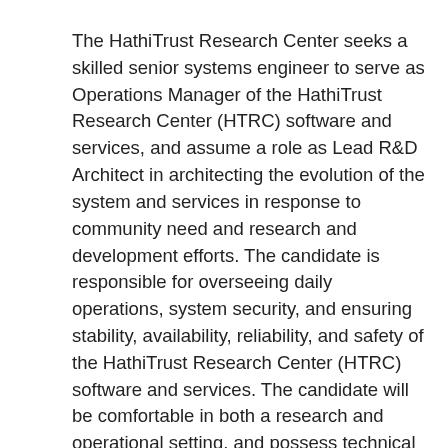The HathiTrust Research Center seeks a skilled senior systems engineer to serve as Operations Manager of the HathiTrust Research Center (HTRC) software and services, and assume a role as Lead R&D Architect in architecting the evolution of the system and services in response to community need and research and development efforts. The candidate is responsible for overseeing daily operations, system security, and ensuring stability, availability, reliability, and safety of the HathiTrust Research Center (HTRC) software and services. The candidate will be comfortable in both a research and operational setting, and possess technical vision and the ability to work with and through others to achieve the vision. He or she will lead technical and operational efforts, and be effective in resolving conflicts. The person will operate in a matrix reporting setting, reporting ultimately to an Executive Management team of HTRC, so will be a self-starter and highly independently